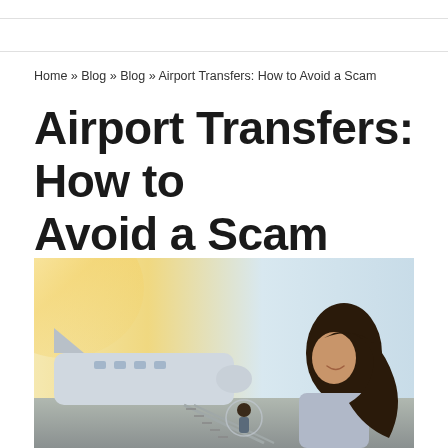Home » Blog » Blog » Airport Transfers: How to Avoid a Scam
Airport Transfers: How to Avoid a Scam
[Figure (photo): Woman with long dark hair at an airport tarmac, smiling, with an airplane stairway and bright sunlight in the background]